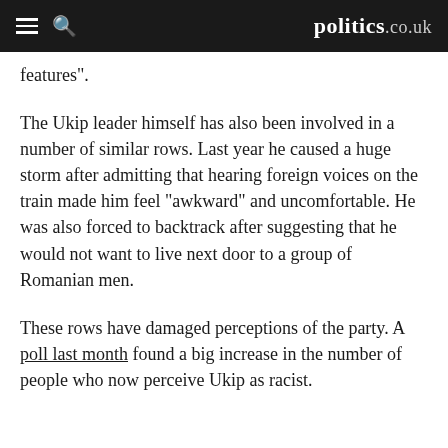politics.co.uk
features".
The Ukip leader himself has also been involved in a number of similar rows. Last year he caused a huge storm after admitting that hearing foreign voices on the train made him feel "awkward" and uncomfortable. He was also forced to backtrack after suggesting that he would not want to live next door to a group of Romanian men.
These rows have damaged perceptions of the party. A poll last month found a big increase in the number of people who now perceive Ukip as racist.